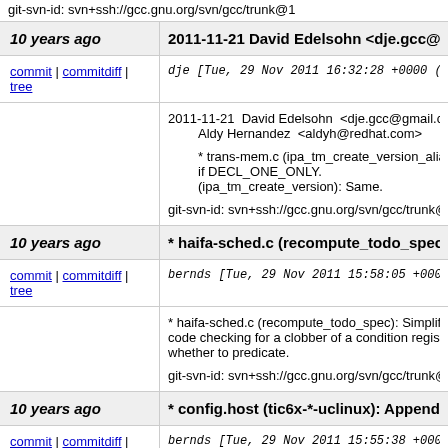git-svn-id: svn+ssh://gcc.gnu.org/svn/gcc/trunk@1
10 years ago
2011-11-21 David Edelsohn <dje.gcc@gmail.co
commit | commitdiff | tree
dje [Tue, 29 Nov 2011 16:32:28 +0000 (16
2011-11-21  David Edelsohn  <dje.gcc@gmail.com
        Aldy Hernandez  <aldyh@redhat.com>

        * trans-mem.c (ipa_tm_create_version_alias):
        if DECL_ONE_ONLY.
        (ipa_tm_create_version): Same.
git-svn-id: svn+ssh://gcc.gnu.org/svn/gcc/trunk@1
10 years ago
* haifa-sched.c (recompute_todo_spec): Simpli
commit | commitdiff | tree
bernds [Tue, 29 Nov 2011 15:58:05 +0000
* haifa-sched.c (recompute_todo_spec): Simplify a code checking for a clobber of a condition register whether to predicate.

git-svn-id: svn+ssh://gcc.gnu.org/svn/gcc/trunk@1
10 years ago
* config.host (tic6x-*-uclinux): Append to extra
commit | commitdiff | tree
bernds [Tue, 29 Nov 2011 15:55:38 +0000